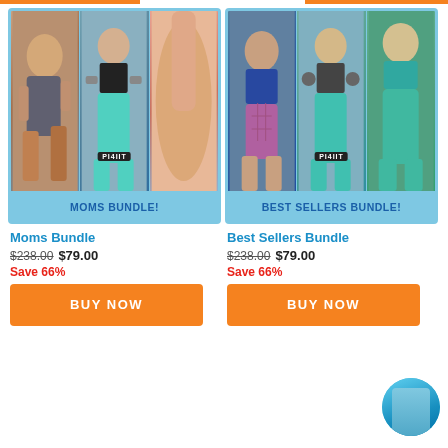[Figure (photo): Moms Bundle product image showing three fitness women collage with 'MOMS BUNDLE!' label]
Moms Bundle
$238.00  $79.00
Save 66%
BUY NOW
[Figure (photo): Best Sellers Bundle product image showing three fitness women collage with 'BEST SELLERS BUNDLE!' label]
Best Sellers Bundle
$238.00  $79.00
Save 66%
BUY NOW